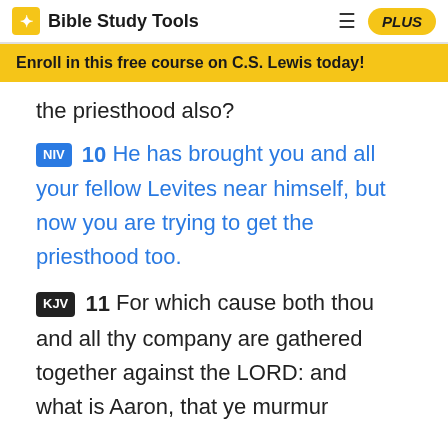Bible Study Tools  PLUS
Enroll in this free course on C.S. Lewis today!
the priesthood also?
NIV 10 He has brought you and all your fellow Levites near himself, but now you are trying to get the priesthood too.
KJV 11 For which cause both thou and all thy company are gathered together against the LORD: and what is Aaron, that ye murmur